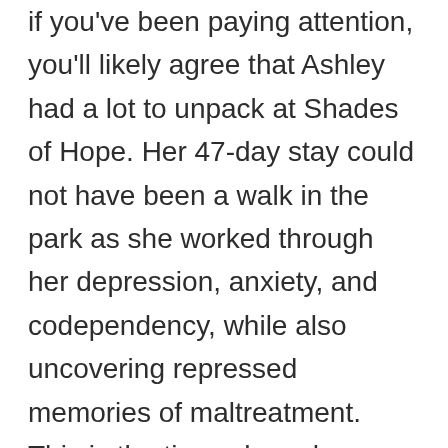If you've been paying attention, you'll likely agree that Ashley had a lot to unpack at Shades of Hope. Her 47-day stay could not have been a walk in the park as she worked through her depression, anxiety, and codependency, while also uncovering repressed memories of maltreatment. This is the time when she started writing her powerful 2011 memoir All That is Bitter and Sweet.
Little did she know that she'd soon have